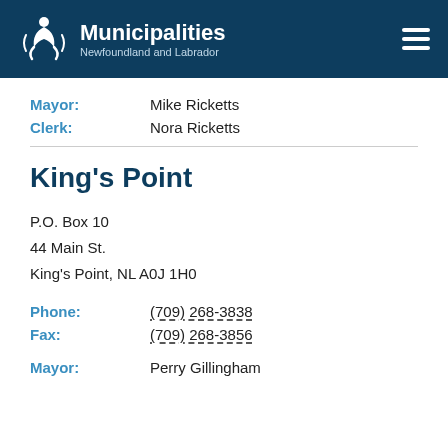Municipalities Newfoundland and Labrador
Mayor: Mike Ricketts
Clerk: Nora Ricketts
King's Point
P.O. Box 10
44 Main St.
King's Point, NL A0J 1H0
Phone: (709) 268-3838
Fax: (709) 268-3856
Mayor: Perry Gillingham